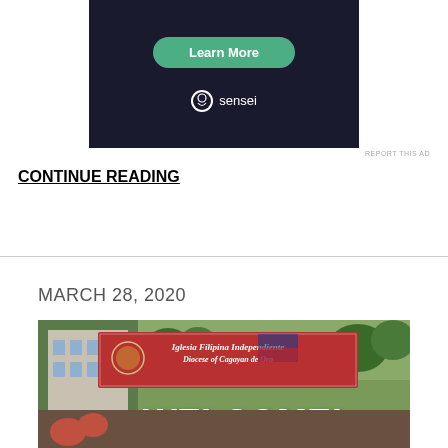[Figure (screenshot): Advertisement banner with dark background showing a 'Learn More' green button and 'sensei' branding logo on the right]
REPORT THIS AD
CONTINUE READING
MARCH 28, 2020
[Figure (photo): Photo of a church banner reading 'Iglesia Filipina Independiente Diocese of Cagayan de Oro WELCOME! ... Mindanao' with hands visible in foreground]